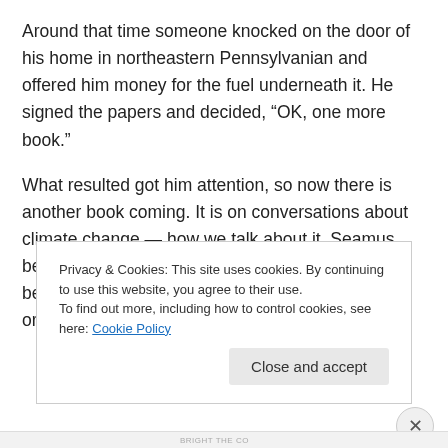Around that time someone knocked on the door of his home in northeastern Pennsylvanian and offered him money for the fuel underneath it. He signed the papers and decided, "OK, one more book."
What resulted got him attention, so now there is another book coming. It is on conversations about climate change — how we talk about it. Seamus believes that in politics and life we are divisive because we self-polarize. He said we are too blind or to stubborn to learn that under the
Privacy & Cookies: This site uses cookies. By continuing to use this website, you agree to their use.
To find out more, including how to control cookies, see here: Cookie Policy
BRIGHT THE CO